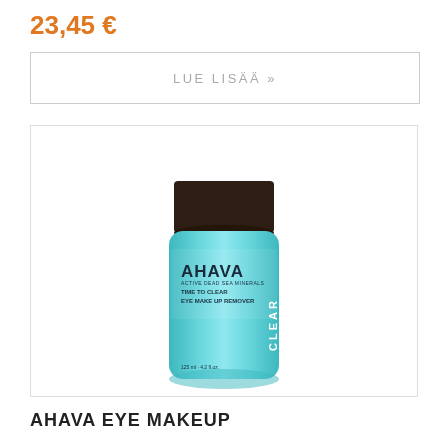23,45 €
LUE LISÄÄ »
[Figure (photo): AHAVA Eye Make Up Remover product bottle — turquoise/teal bottle with dark brown cap, labeled AHAVA TIME TO CLEAR EYE MAKE UP REMOVER CLEAR, 125ml]
AHAVA EYE MAKEUP